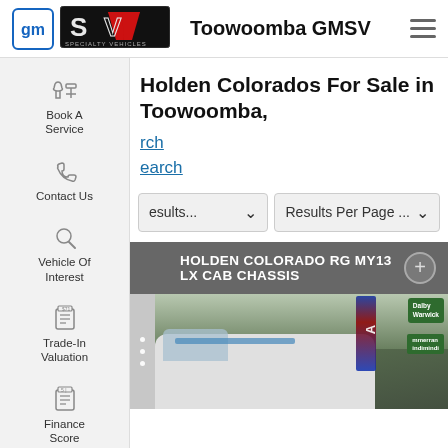[Figure (logo): GM logo (blue square with rounded corners) and SV Specialty Vehicles logo]
Toowoomba GMSV
[Figure (screenshot): Navigation sidebar with icons: Book A Service (wrench), Contact Us (phone), Vehicle Of Interest (search), Trade-In Valuation (form), Finance Score (form)]
Holden Colorados For Sale in Toowoomba,
rch
earch
Results... ∨
Results Per Page ... ∨
HOLDEN COLORADO RG MY13 LX CAB CHASSIS
[Figure (photo): Photo of a white Holden Colorado cab chassis truck parked near road signs (Dalby, Warwick directions) with green trees in background and a blue/red branded banner]